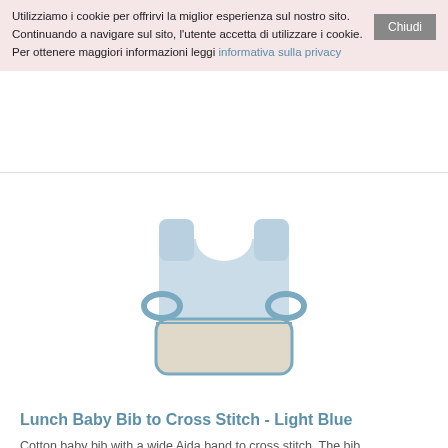Utilizziamo i cookie per offrirvi la miglior esperienza sul nostro sito. Continuando a navigare sul sito, l'utente accetta di utilizzare i cookie. Per ottenere maggiori informazioni leggi informativa sulla privacy
[Figure (photo): A light blue cotton baby bib with a wide Aida band for cross stitch, featuring side loops and a front pocket, on a white background.]
Lunch Baby Bib to Cross Stitch - Light Blue
Cotton baby bib with a wide Aida band to cross stitch. The bib ..
11.99€